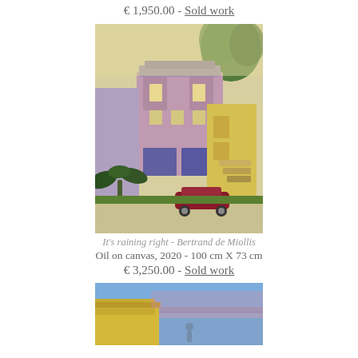€ 1,950.00 - Sold work
[Figure (photo): Oil painting of Victorian-style buildings in San Francisco with a dark red car parked in front, lush green vegetation, painted by Bertrand de Miollis]
It's raining right - Bertrand de Miollis
Oil on canvas, 2020 - 100 cm X 73 cm
€ 3,250.00 - Sold work
[Figure (photo): Partial view of an oil painting showing a rooftop scene with blue sky and a silhouetted figure]